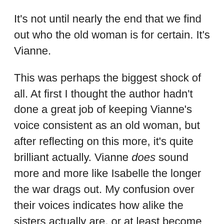It's not until nearly the end that we find out who the old woman is for certain. It's Vianne.
This was perhaps the biggest shock of all. At first I thought the author hadn't done a great job of keeping Vianne's voice consistent as an old woman, but after reflecting on this more, it's quite brilliant actually. Vianne does sound more and more like Isabelle the longer the war drags out. My confusion over their voices indicates how alike the sisters actually are, or at least become because of the war.
This reading also makes more sense because when we discover Isabelle is The Nightingale and whom the book is named after, I feel like Vianne is shortchanged because she did very different but equally brave things. The author doesn't give more emphasis to either sister, so Vianne is